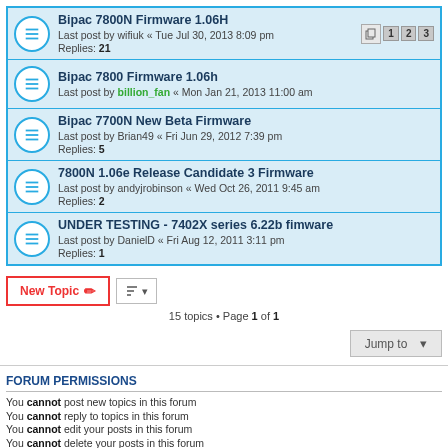Bipac 7800N Firmware 1.06H — Last post by wifiuk « Tue Jul 30, 2013 8:09 pm — Replies: 21
Bipac 7800 Firmware 1.06h — Last post by billion_fan « Mon Jan 21, 2013 11:00 am
Bipac 7700N New Beta Firmware — Last post by Brian49 « Fri Jun 29, 2012 7:39 pm — Replies: 5
7800N 1.06e Release Candidate 3 Firmware — Last post by andyjrobinson « Wed Oct 26, 2011 9:45 am — Replies: 2
UNDER TESTING - 7402X series 6.22b fimware — Last post by DanielD « Fri Aug 12, 2011 3:11 pm — Replies: 1
15 topics • Page 1 of 1
Jump to
FORUM PERMISSIONS
You cannot post new topics in this forum
You cannot reply to topics in this forum
You cannot edit your posts in this forum
You cannot delete your posts in this forum
You cannot post attachments in this forum